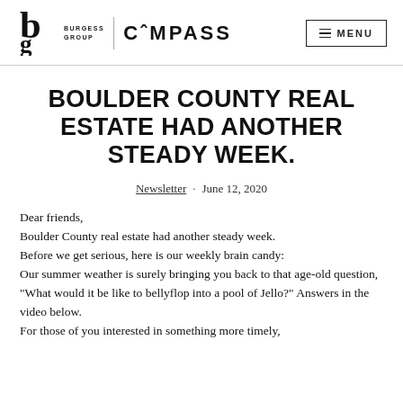Burgess Group | COMPASS   MENU
BOULDER COUNTY REAL ESTATE HAD ANOTHER STEADY WEEK.
Newsletter · June 12, 2020
Dear friends,
Boulder County real estate had another steady week.
Before we get serious, here is our weekly brain candy:
Our summer weather is surely bringing you back to that age-old question, "What would it be like to bellyflop into a pool of Jello?" Answers in the video below.
For those of you interested in something more timely,